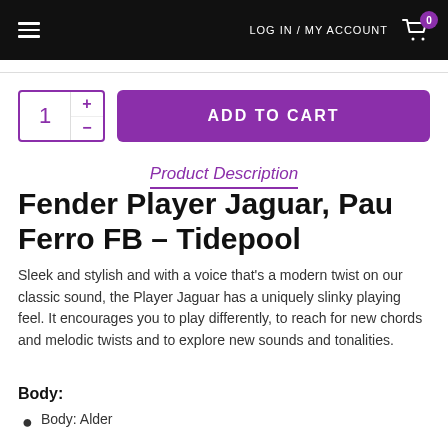LOG IN / MY ACCOUNT  0
Product Description
Fender Player Jaguar, Pau Ferro FB – Tidepool
Sleek and stylish and with a voice that's a modern twist on our classic sound, the Player Jaguar has a uniquely slinky playing feel. It encourages you to play differently, to reach for new chords and melodic twists and to explore new sounds and tonalities.
Body:
Body: Alder